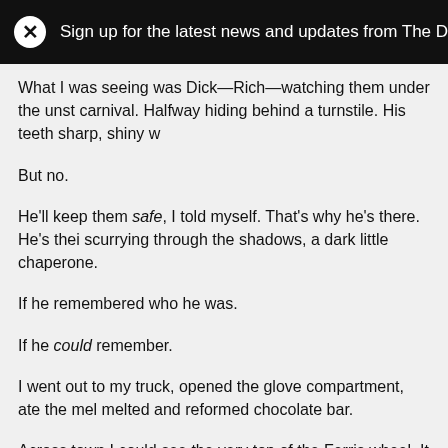Sign up for the latest news and updates from The Dark
What I was seeing was Dick—Rich—watching them under the unst carnival. Halfway hiding behind a turnstile. His teeth sharp, shiny w
But no.
He'll keep them safe, I told myself. That's why he's there. He's thei scurrying through the shadows, a dark little chaperone.
If he remembered who he was.
If he could remember.
I went out to my truck, opened the glove compartment, ate the mel melted and reformed chocolate bar.
Across town I could see the very top of the Ferris wheel. It was turn fire in slowed-down time.
The whole neighborhood was empty.